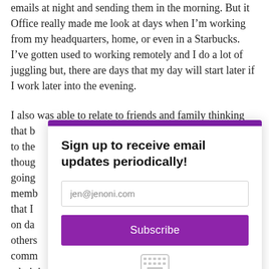emails at night and sending them in the morning. But it Office really made me look at days when I'm working from my headquarters, home, or even in a Starbucks. I've gotten used to working remotely and I do a lot of juggling but, there are days that my day will start later if I work later into the evening.
I also was able to relate to friends and family thinking that b... to the... thoug... going... memb... that I... on da... others... comm... administrative team in my dedicated territories that I
[Figure (other): Email subscription modal popup with purple top bar, bold title 'Sign up to receive email updates periodically!', email input field showing 'jen@jenoni.com', a purple Subscribe button, and a keyboard icon at the bottom.]